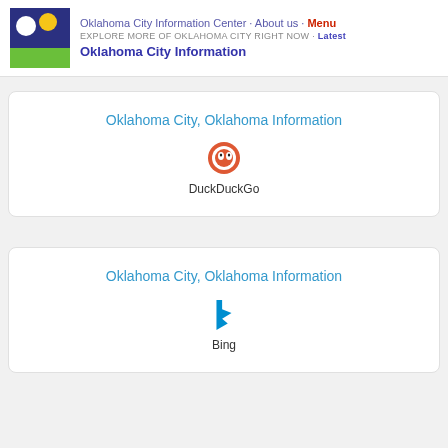Oklahoma City Information Center · About us · Menu
EXPLORE MORE OF OKLAHOMA CITY RIGHT NOW · Latest
Oklahoma City Information
[Figure (other): Search result card showing 'Oklahoma City, Oklahoma Information' with DuckDuckGo logo and label]
[Figure (other): Search result card showing 'Oklahoma City, Oklahoma Information' with Bing logo and label]